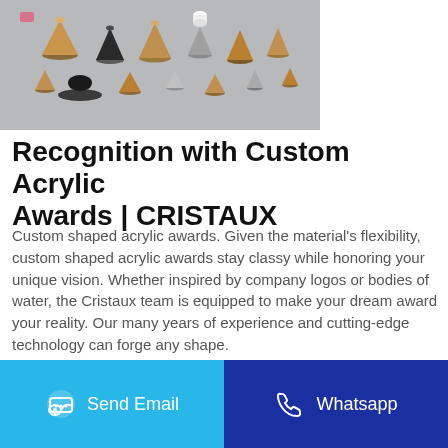[Figure (photo): Photo of multiple custom metallic cone-shaped and disc-shaped acrylic award pieces in various sizes, gold/copper, silver, and black finishes, arranged on a gray background.]
Recognition with Custom Acrylic Awards | CRISTAUX
Custom shaped acrylic awards. Given the material's flexibility, custom shaped acrylic awards stay classy while honoring your unique vision. Whether inspired by company logos or bodies of water, the Cristaux team is equipped to make your dream award your reality. Our many years of experience and cutting-edge technology can forge any shape.
[Figure (screenshot): Two partially visible blue call-to-action buttons at the bottom of the main content area]
Send Email
Whatsapp